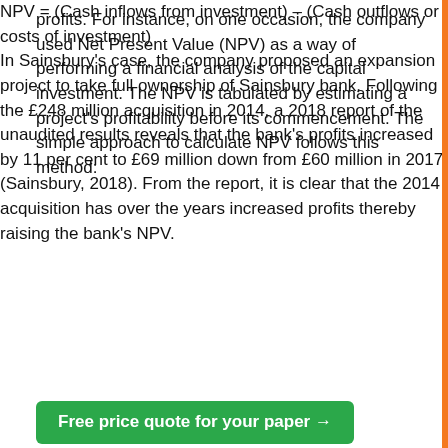profits. For instance, on one occasion, the company used Net Present Value (NPV) as a way of performing a financial analysis of the capital investment. The NPV is tabulated by estimating a project's profitability before its commencement. The simple approach to calculate NPV follows this method:
In Sainsbury's case, the company proposed an expansion project to take full ownership of Sainsbury bank. Following the £248 million acquisition in 2014, a 2018 report of the unaudited results reveals that the bank's profits increased by 11 per cent to £69 million down from £60 million in 2017 (Sainsbury, 2018). From the report, it is clear that the 2014 acquisition has over the years increased profits thereby raising the bank's NPV.
Free price quote for your paper →